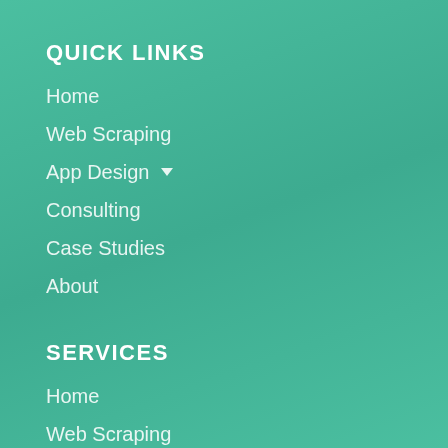QUICK LINKS
Home
Web Scraping
App Design ▾
Consulting
Case Studies
About
SERVICES
Home
Web Scraping
App Design ▾
Consulting
Case Studies